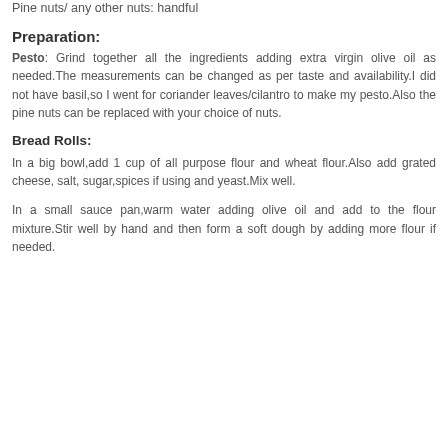Pine nuts/ any other nuts: handful
Preparation:
Pesto: Grind together all the ingredients adding extra virgin olive oil as needed.The measurements can be changed as per taste and availability.I did not have basil,so I went for coriander leaves/cilantro to make my pesto.Also the pine nuts can be replaced with your choice of nuts.
Bread Rolls:
In a big bowl,add 1 cup of all purpose flour and wheat flour.Also add grated cheese, salt, sugar,spices if using and yeast.Mix well.
In a small sauce pan,warm water adding olive oil and add to the flour mixture.Stir well by hand and then form a soft dough by adding more flour if needed.